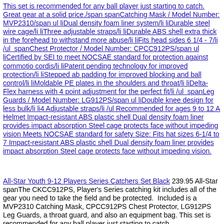This set is recommended for any ball player just starting to catch. Great gear at a solid price./span spanCatching Mask / Model Number: MVP2310/span ul liDual density foam liner system/li liDurable steel wire cage/li liThree adjustable straps/li liDurable ABS shell extra thick in the forehead to withstand more abuse/li liFits head sides 6 1/4 - 7/li /ul  spanChest Protector / Model Number: CPCC912PS/span ul liCertified by SEI to meet NOCSAE standard for protection against commotio cordis/li liPatent pending technology for improved protection/li liStepped ab padding for improved blocking and ball control/li liMoldable PE plates in the shoulders and throat/li liDelta-Flex harness with 4 point adjustment for the perfect fit/li /ul  spanLeg Guards / Model Number: LG912PS/span ul liDouble knee design for less bulk/li li4 Adjustable straps/li /ul Recommended for ages 9 to 12 A Helmet Impact-resistant ABS plastic shell Dual density foam liner provides impact absorption Steel cage protects face without impeding vision Meets NOCSAE standard for safety Size: Fits hat sizes 6-1/4 to 7 Impact-resistant ABS plastic shell Dual density foam liner provides impact absorption Steel cage protects face without impeding vision.
All-Star Youth 9-12 Players Series Catchers Set Black 239.95 All-Star spanThe CKCC912PS, Player's Series catching kit includes all of the gear you need to take the field and be protected. Included is a MVP2310 Catching Mask, CPCC912PS Chest Protector, LG912PS Leg Guards, a throat guard, and also an equipment bag. This set is recommended for any ball player just starting to catch.